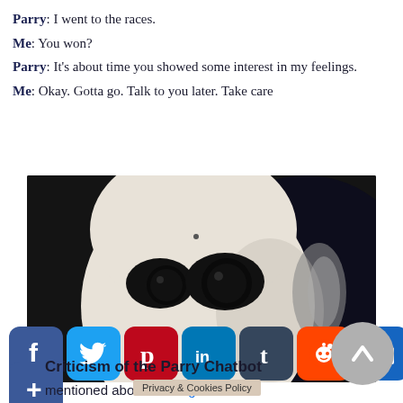Parry: I went to the races.
Me: You won?
Parry: It's about time you showed some interest in my feelings.
Me: Okay. Gotta go. Talk to you later. Take care
[Figure (photo): Close-up photo of a white humanoid robot face with large dark eye lenses against a dark background]
[Figure (infographic): Social media share buttons: Facebook, Twitter, Pinterest, LinkedIn, Tumblr, Reddit, Email, More, and a scroll-up button]
Criticism of the Parry Chatbot
mentioned abov... Turing
Privacy & Cookies Policy